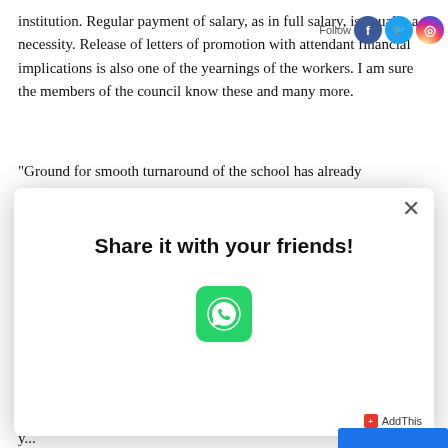institution. Regular payment of salary, as in full salary, is equally a necessity. Release of letters of promotion with attendant financial implications is also one of the yearnings of the workers. I am sure the members of the council know these and many more.
“Ground for smooth turnaround of the school has already b...
[Figure (infographic): A modal popup dialog with title 'Share it with your friends!' containing a WhatsApp share button (green square with WhatsApp icon). A close (x) button is in the top right corner. An AddThis badge is in the bottom right. Social media follow icons (Facebook, Twitter, Instagram) and 'Follow' text appear in the page header area.]